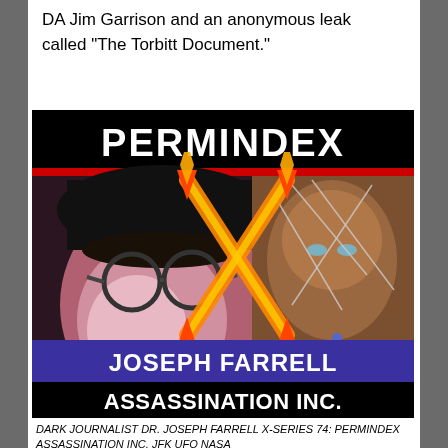DA Jim Garrison and an anonymous leak called "The Torbitt Document."
[Figure (illustration): Book/video cover for 'PERMINDEX - JOSEPH FARRELL ASSASSINATION INC.' showing a man with glasses and a hat on the left side and a painted face on the right, overlaid with a flaming X symbol. Red horizontal bar separates the title from the image. Purple banner reads 'JOSEPH FARRELL', black banner reads 'ASSASSINATION INC.']
DARK JOURNALIST DR. JOSEPH FARRELL X-SERIES 74: PERMINDEX ASSASSINATION INC. JFK UFO NASA